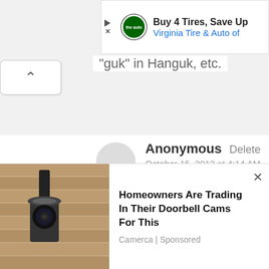[Figure (screenshot): Ad banner for Virginia Tire & Auto with logo and text: Buy 4 Tires, Save Up | Virginia Tire & Auto of]
"guk" in Hanguk, etc.
Anonymous
October 15, 2013 at 4:14 AM
Delete
The Korean War was before the Vietnam War. So when the
[Figure (screenshot): Ad: Homeowners Are Trading In Their Doorbell Cams For This. Camerca | Sponsored. Image shows outdoor wall light/camera.]